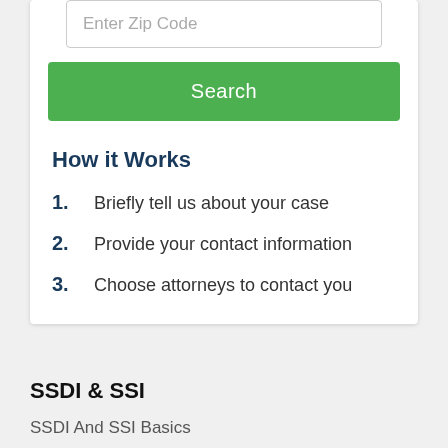[Figure (screenshot): Input field with placeholder text 'Enter Zip Code']
[Figure (screenshot): Green 'Search' button]
How it Works
1. Briefly tell us about your case
2. Provide your contact information
3. Choose attorneys to contact you
SSDI & SSI
SSDI And SSI Basics